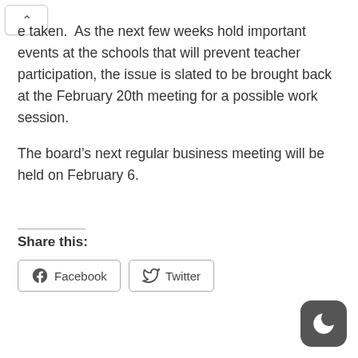e taken.  As the next few weeks hold important events at the schools that will prevent teacher participation, the issue is slated to be brought back at the February 20th meeting for a possible work session.

The board's next regular business meeting will be held on February 6.
Share this:
[Figure (other): Social share buttons for Facebook and Twitter]
[Figure (other): Night mode toggle button with crescent moon icon]